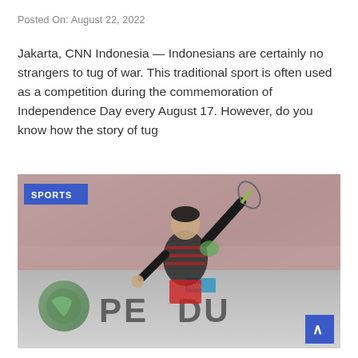Posted On: August 22, 2022
Jakarta, CNN Indonesia — Indonesians are certainly no strangers to tug of war. This traditional sport is often used as a competition during the commemoration of Independence Day every August 17. However, do you know how the story of tug
[Figure (photo): A badminton player in black and red uniform mid-swing, with a PETRODU sponsor banner visible in the background. A blue SPORTS badge overlays the top-left corner of the image.]